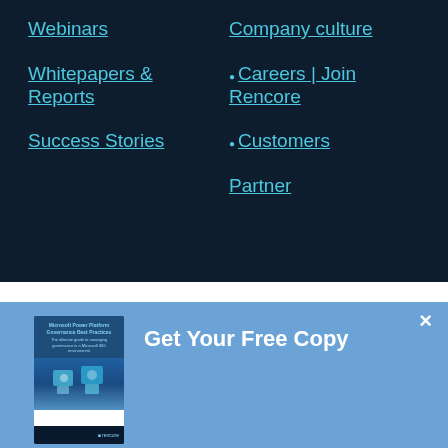Webinars
Company culture
Whitepapers & Reports
Careers | Join Rencore
Success Stories
Customers
Partner
Get Your Free Copy
[Figure (illustration): Book cover for Rencore whitepaper on Power Platform governance best practices]
Rencore whitepaper "Power Platform governance best practices".
All the guidelines and best practices you need to implement a no-and low-code solution governance strategy.
Download